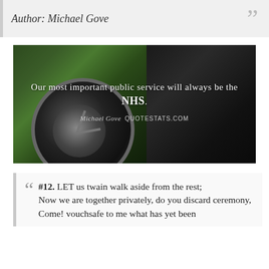Author: Michael Gove
[Figure (photo): Dark background photo of a green car wheel/rim with overlaid quote text: 'Our most important public service will always be the NHS.' attributed to Michael Gove, QUOTESTATS.COM]
#12. LET us twain walk aside from the rest;
Now we are together privately, do you discard ceremony,
Come! vouchsafe to me what has yet been